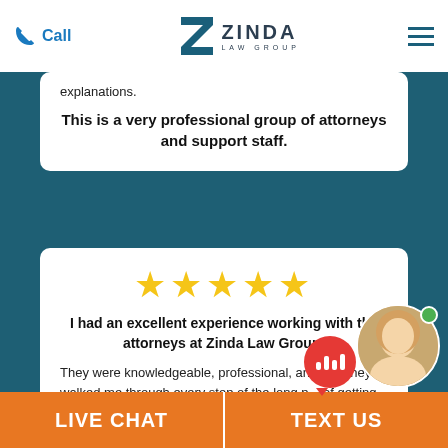Call | ZINDA LAW GROUP
explanations.
This is a very professional group of attorneys and support staff.
[Figure (other): Five yellow stars rating]
I had an excellent experience working with the attorneys at Zinda Law Group!
They were knowledgeable, professional, and p... They walked me through every step of the long p... of getting treatment after my car wreck and kept me updated with timeframes and next steps.
LIVE CHAT | TEXT US